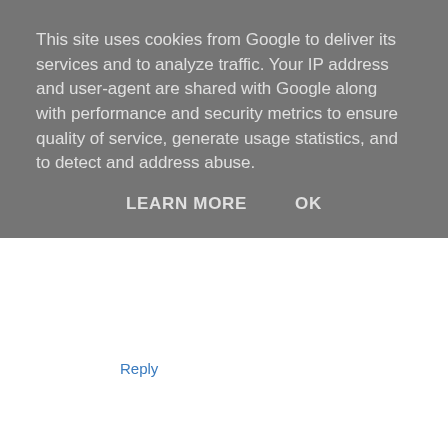This site uses cookies from Google to deliver its services and to analyze traffic. Your IP address and user-agent are shared with Google along with performance and security metrics to ensure quality of service, generate usage statistics, and to detect and address abuse.
LEARN MORE    OK
Reply
Unknown  5 March 2013 at 11:28
Great finds - love the turntable
Reply